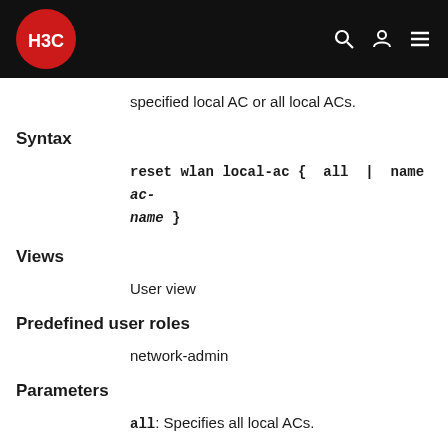H3C
specified local AC or all local ACs.
Syntax
Views
User view
Predefined user roles
network-admin
Parameters
all: Specifies all local ACs.
name ac-name: Specifies the name of a local AC, a case-sensitive string of 1 to 64 characters. The string can contain letters, digits, underscores (_), dots (.), left brackets ([), righ brackets (]), forward slashes (/),